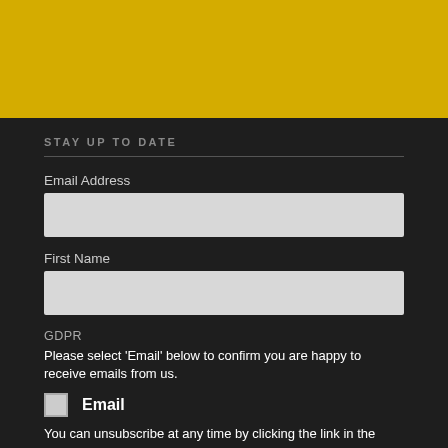[Figure (other): Yellow/gold colored banner bar at top of page]
STAY UP TO DATE
Email Address
First Name
GDPR
Please select 'Email' below to confirm you are happy to receive emails from us.
Email
You can unsubscribe at any time by clicking the link in the footer of our